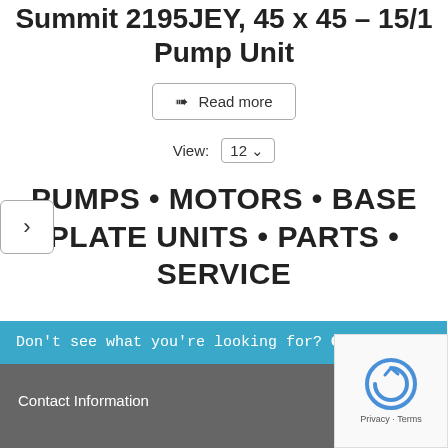Summit 2195JEY, 45 x 45 – 15/1 Pump Unit
Read more
View: 12
[Figure (other): Navigation arrow button pointing right]
PUMPS • MOTORS • BASE PLATE UNITS • PARTS • SERVICE
Don't see what you're looking for? Contact us!
Contact Information